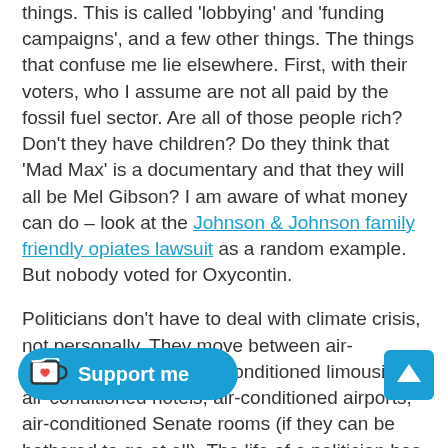things. This is called 'lobbying' and 'funding campaigns', and a few other things. The things that confuse me lie elsewhere. First, with their voters, who I assume are not all paid by the fossil fuel sector. Are all of those people rich? Don't they have children? Do they think that 'Mad Max' is a documentary and that they will all be Mel Gibson? I am aware of what money can do – look at the Johnson & Johnson family friendly opiates lawsuit as a random example. But nobody voted for Oxycontin.
Politicians don't have to deal with climate crisis, not personally. They move between air-conditioned houses, air-conditioned limousines, air-conditioned hotels, air-conditioned airports, air-conditioned Senate rooms (if they can be bothered to go at all). The life of a politician has very little in common with the lives of their voters. WHO WILL DIE. The life of a stockholder of a fossil fuel company, or anyone who profits, is cool in more than one [way. They] miss the fact that their produ[cts kill] other people. WHO WILL DIE... but then – those too poor to be able to afford heating in